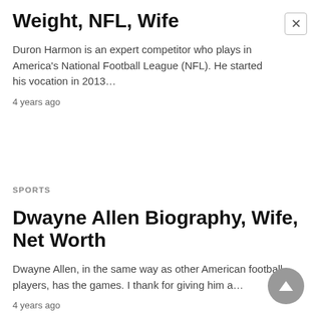Weight, NFL, Wife
Duron Harmon is an expert competitor who plays in America's National Football League (NFL). He started his vocation in 2013…
4 years ago
SPORTS
Dwayne Allen Biography, Wife, Net Worth
Dwayne Allen, in the same way as other American football players, has the games.  I thank for giving him a…
4 years ago